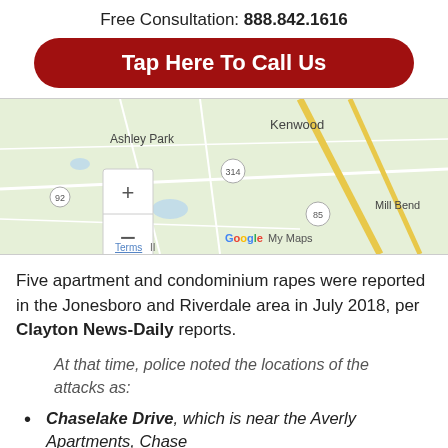Free Consultation: 888.842.1616
Tap Here To Call Us
[Figure (map): Google map showing areas including Ashley Park, Kenwood, routes 92, 314, 85, and Mill Bend area]
Five apartment and condominium rapes were reported in the Jonesboro and Riverdale area in July 2018, per Clayton News-Daily reports.
At that time, police noted the locations of the attacks as:
Chaselake Drive, which is near the Averly Apartments, Chase